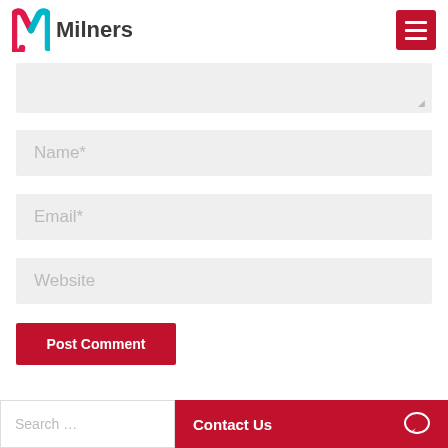Milners
(textarea – comment field, partially visible)
Name*
Email*
Website
Post Comment
Search ...
Contact Us